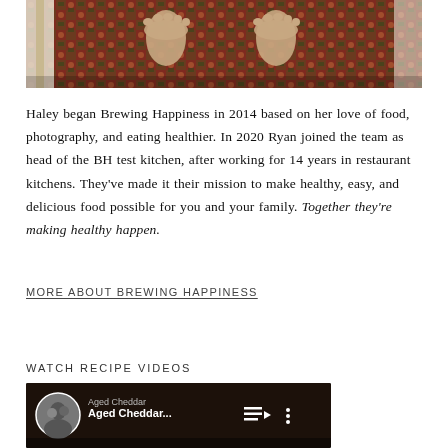[Figure (photo): Photo showing bare feet standing on a colorful floral/geometric patterned rug, with furniture legs visible at the sides.]
Haley began Brewing Happiness in 2014 based on her love of food, photography, and eating healthier. In 2020 Ryan joined the team as head of the BH test kitchen, after working for 14 years in restaurant kitchens. They've made it their mission to make healthy, easy, and delicious food possible for you and your family. Together they're making healthy happen.
MORE ABOUT BREWING HAPPINESS
WATCH RECIPE VIDEOS
[Figure (screenshot): YouTube video thumbnail showing 'Aged Cheddar...' with a playlist icon and vertical dots menu. A circular avatar of two people is visible on the left.]